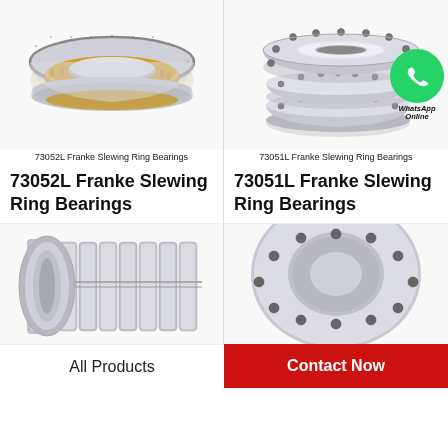[Figure (photo): 73052L Franke Slewing Ring Bearing - annular ring bearing with gear teeth, gold/bronze colored inner race, shown at angle]
73052L Franke Slewing Ring Bearings
73052L Franke Slewing Ring Bearings
[Figure (photo): 73051L Franke Slewing Ring Bearing - stacked disc-style slewing ring bearings in silver/steel, with bolt holes, shown at angle. WhatsApp Online overlay icon visible.]
73051L Franke Slewing Ring Bearings
73051L Franke Slewing Ring Bearings
[Figure (photo): Cylindrical roller bearing shown partially, silver steel, multiple roller elements visible]
[Figure (photo): Slewing ring bearing shown partially, silver steel, with bolt holes around flange]
All Products
Contact Now